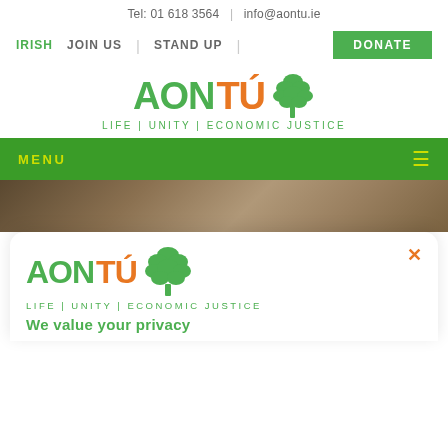Tel: 01 618 3564 | info@aontu.ie
[Figure (logo): Aontú logo with tree icon — LIFE | UNITY | ECONOMIC JUSTICE tagline — navigation bar with IRISH, JOIN US, STAND UP, DONATE button]
[Figure (screenshot): Green menu bar with MENU label and hamburger icon]
[Figure (photo): Hero image strip showing partial interior/door background]
[Figure (logo): Cookie/privacy popup with Aontú logo (AON in green, TÚ in orange, tree icon), LIFE | UNITY | ECONOMIC JUSTICE tagline, close X button, and 'We value your privacy' heading in green]